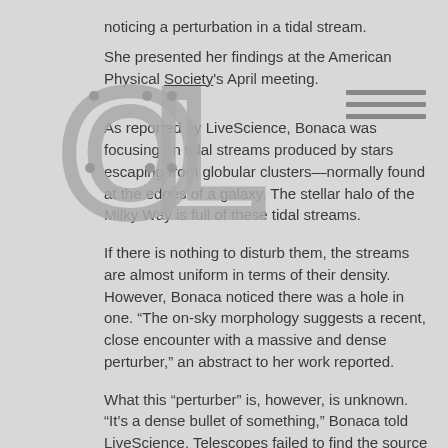noticing a perturbation in a tidal stream.
She presented her findings at the American Physical Society's April meeting.
[Figure (logo): Large OL letters logo overlapping top-left area]
As reported by LiveScience, Bonaca was focusing on tidal streams produced by stars escaping from globular clusters—normally found at the edges of a galaxy. The stellar halo of the Milky Way is full of these tidal streams.
If there is nothing to disturb them, the streams are almost uniform in terms of their density. However, Bonaca noticed there was a hole in one. “The on-sky morphology suggests a recent, close encounter with a massive and dense perturber,” an abstract to her work reported.
What this “perturber” is, however, is unknown. “It’s a dense bullet of something,” Bonaca told LiveScience. Telescopes failed to find the source—so what could it be?
The hole is enormous, so whatever made it must also have been. “It’s much more massive than a star,” she told the website. “Something like a million times the mass of the sun.